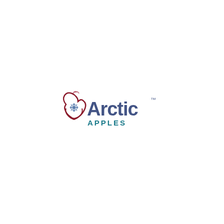[Figure (logo): Arctic Apples logo: a stylized apple outline in dark red with a snowflake inside, alongside the text 'Arctic' in large dark navy blue font with a trademark symbol, and 'APPLES' in teal/dark cyan below, all with a slight gray overlay effect]